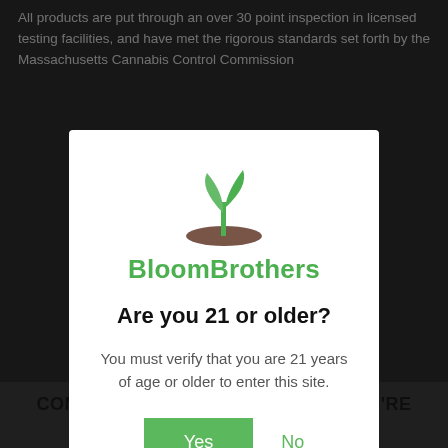All products are put through an over 30 point inspection in licensed testing facilities, and have met the rigorous standards set forth by the Massachusetts Cannabis Control Commission
[Figure (illustration): BloomBrothers age verification modal dialog with green plant seedling logo, brand name 'BloomBrothers', age verification question 'Are you 21 or older?', descriptive text, and Yes/No buttons]
COME ON IN, WE'RE GLAD THAT YOU'RE HERE!